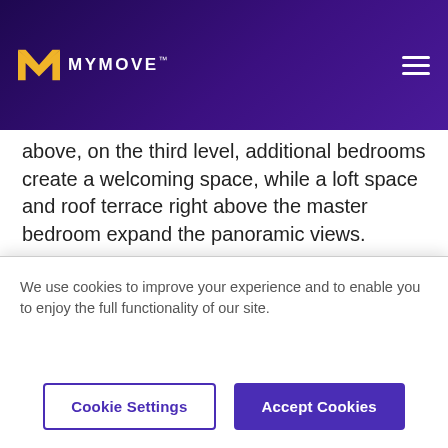MYMOVE
above, on the third level, additional bedrooms create a welcoming space, while a loft space and roof terrace right above the master bedroom expand the panoramic views.
Materials and shapes interweave to compose an amazing modern residence: “The two story living room is a rarity in the neighborhood and coupled with light coming
We use cookies to improve your experience and to enable you to enjoy the full functionality of our site.